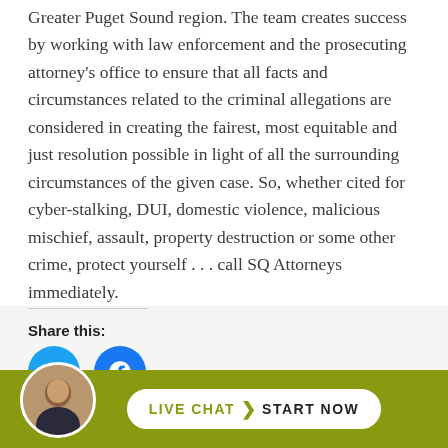Greater Puget Sound region. The team creates success by working with law enforcement and the prosecuting attorney's office to ensure that all facts and circumstances related to the criminal allegations are considered in creating the fairest, most equitable and just resolution possible in light of all the surrounding circumstances of the given case. So, whether cited for cyber-stalking, DUI, domestic violence, malicious mischief, assault, property destruction or some other crime, protect yourself . . . call SQ Attorneys immediately.
Share this:
[Figure (illustration): Twitter and Facebook social share buttons as circular icons]
[Figure (photo): Live Chat bar with attorney avatar photo and 'LIVE CHAT > START NOW' button on olive green background]